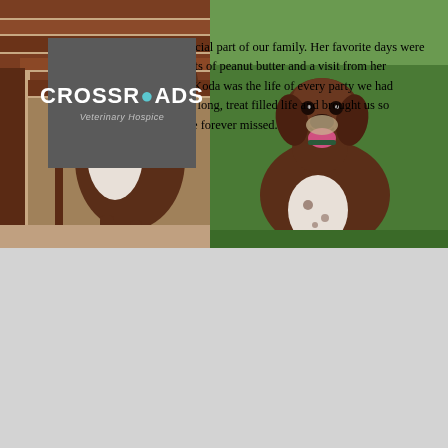Koda
[Figure (logo): Crossroads Veterinary Hospice logo — grey square with white bold text CROSSROADS (with a teal dot in the road) and italic subtitle 'Veterinary Hospice']
Koda was a special part of our family. Her favorite days were the backyard, lots of peanut butter and a visit from her babies Ella and Greta. Koda was the life of every party we had with family. She lived a long, treat filled life and brought us so much joy. She will be forever missed.
[Figure (photo): Two-part photo of Koda, a brown and white spotted dog (German Shorthaired Pointer mix). Left: dog's hindquarters and tail near brown wooden deck stairs. Right: dog facing camera with mouth open and tongue out, smiling, standing on grass.]